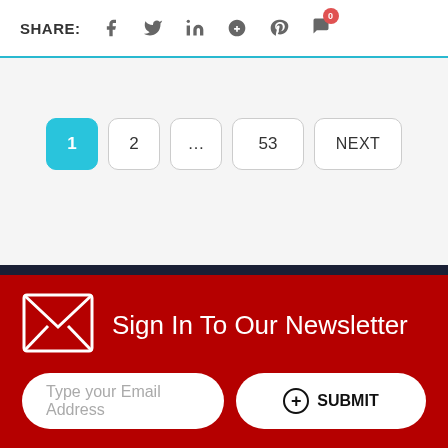SHARE: [social icons: facebook, twitter, linkedin, google+, pinterest, comment(0)]
Pagination: 1 (active), 2, ..., 53, NEXT
Sign In To Our Newsletter
Type your Email Address
+ SUBMIT